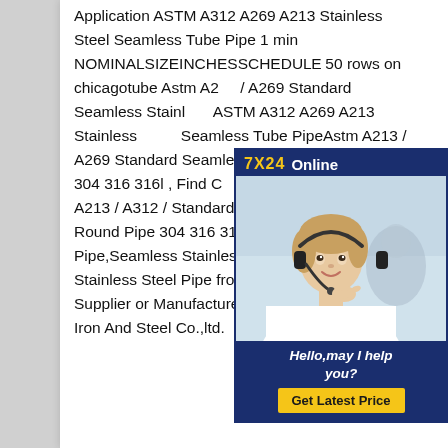Application ASTM A312 A269 A213 Stainless Steel Seamless Tube Pipe 1 min NOMINALSIZEINCHESSCHEDULE 50 rows on chicagotube Astm A213 / A269 Standard Seamless Stainless ASTM A312 A269 A213 Stainless Seamless Tube PipeAstm A213 / A269 Standard Seamless Stainless Round Pipe 304 316 316l , Find Complete Details about Astm A213 / A312 / Standard Seamless Stainless Steel Round Pipe 304 316 316l,Stainless Pipe,Seamless Stainless Steel Pipe,304 Stainless Steel Pipe from Stainless Steel Pipes Supplier or Manufacturer-Jiangsu Zhengkuan Iron And Steel Co.,ltd.
[Figure (other): Customer service chat overlay showing '7X24 Online' header in yellow/white on dark blue, a photo of a woman with headset smiling, text 'Hello,may I help you?' and a yellow 'Get Latest Price' button.]